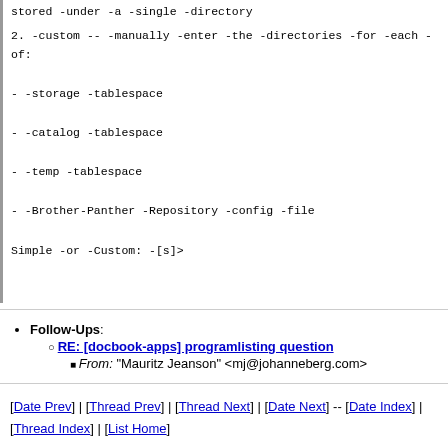stored -under -a -single -directory
2. -custom -- -manually -enter -the -directories -for -each -of:
- -storage -tablespace
- -catalog -tablespace
- -temp -tablespace
- -Brother-Panther -Repository -config -file
Simple -or -Custom: -[s]>
Follow-Ups: RE: [docbook-apps] programlisting question From: "Mauritz Jeanson" <mj@johanneberg.com>
[Date Prev] | [Thread Prev] | [Thread Next] | [Date Next] -- [Date Index] | [Thread Index] | [List Home]